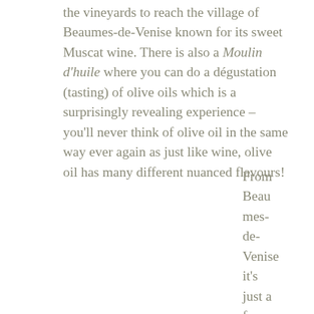the vineyards to reach the village of Beaumes-de-Venise known for its sweet Muscat wine. There is also a Moulin d'huile where you can do a dégustation (tasting) of olive oils which is a surprisingly revealing experience – you'll never think of olive oil in the same way ever again as just like wine, olive oil has many different nuanced flavours!
From Beaumes-de-Venise it's just a few kilometers on till